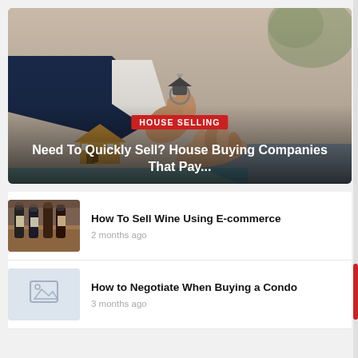[Figure (photo): Hero image of two hands exchanging house keys, with a miniature house model in the background. Overlaid with a red 'HOUSE SELLING' badge and white bold title text.]
HOUSE SELLING
Need To Quickly Sell? House Buying Companies That Pay...
[Figure (photo): Thumbnail photo showing wine bottles in wooden boxes on shelves.]
How To Sell Wine Using E-commerce
2 months ago
[Figure (other): Placeholder image icon (grey background with a small image/document icon).]
How to Negotiate When Buying a Condo
3 months ago